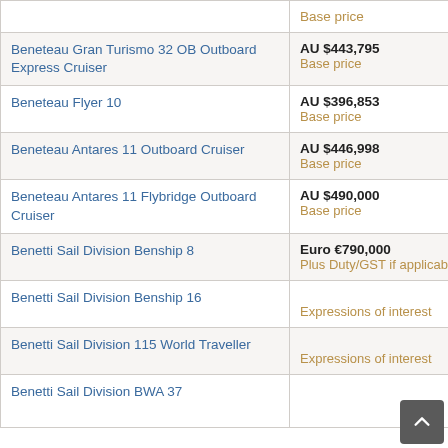|  | Base price |
| --- | --- |
| Beneteau Gran Turismo 32 OB Outboard Express Cruiser | AU $443,795
Base price |
| Beneteau Flyer 10 | AU $396,853
Base price |
| Beneteau Antares 11 Outboard Cruiser | AU $446,998
Base price |
| Beneteau Antares 11 Flybridge Outboard Cruiser | AU $490,000
Base price |
| Benetti Sail Division Benship 8 | Euro €790,000
Plus Duty/GST if applicable |
| Benetti Sail Division Benship 16 | Expressions of interest |
| Benetti Sail Division 115 World Traveller | Expressions of interest |
| Benetti Sail Division BWA 37 |  |